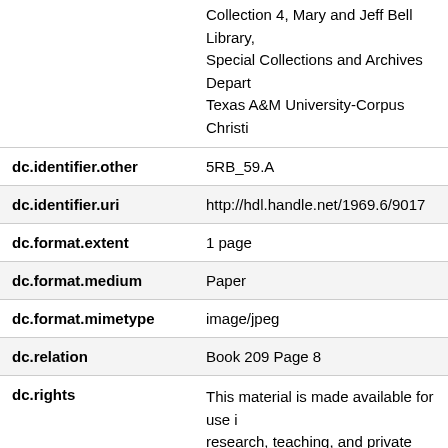| Field | Value |
| --- | --- |
|  | Collection 4, Mary and Jeff Bell Library, Special Collections and Archives Depart Texas A&M University-Corpus Christi |
| dc.identifier.other | 5RB_59.A |
| dc.identifier.uri | http://hdl.handle.net/1969.6/9017 |
| dc.format.extent | 1 page |
| dc.format.medium | Paper |
| dc.format.mimetype | image/jpeg |
| dc.relation | Book 209 Page 8 |
| dc.rights | This material is made available for use in research, teaching, and private study, pursuant to U.S. Copyright law. The user assumes full responsibility for any use of materials, including but not limited to tak precautions against infringement of copy and respecting the publication rights of reproduced materials. All rights are rese |